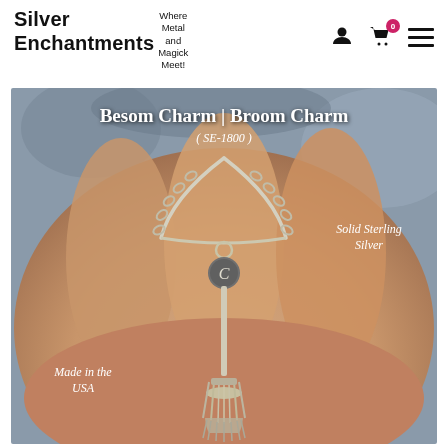Silver Enchantments — Where Metal and Magick Meet!
[Figure (photo): Product photo of a Besom Charm / Broom Charm (SE-1800) — a small silver witch's broom charm on a chain, held on a person's fingers. Text overlays on the image read: 'Besom Charm | Broom Charm', '( SE-1800 )', 'Solid Sterling Silver', 'Made in the USA'.]